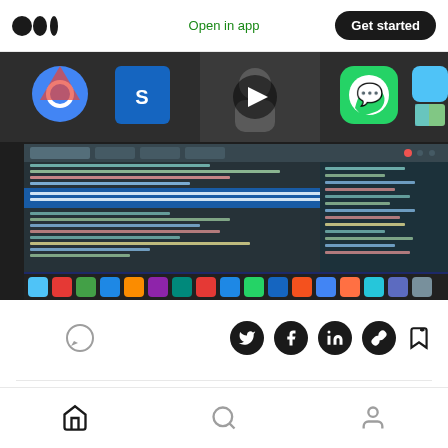Open in app | Get started
[Figure (screenshot): Screenshot of a Mac desktop showing Chrome, Sublime Text, a video player with play button, WhatsApp, and Finder icons in the top area, and below it a browser developer tools / code editor window with HTML/CSS code highlighted in blue, plus a Mac dock at the bottom with many app icons.]
Apr 18, 2021
Home | Search | Profile